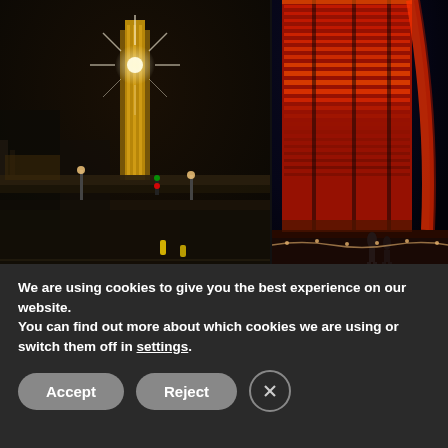[Figure (photo): Two nighttime architectural photos side by side. Left: a large illuminated tower/spire at night in an urban area with street lights. Right: a modern building with red LED facade lighting at dusk with pedestrians.]
🌐 Tryka.com
Celebrate with #TeamTryka
We are using cookies to give you the best experience on our website.
You can find out more about which cookies we are using or switch them off in settings.